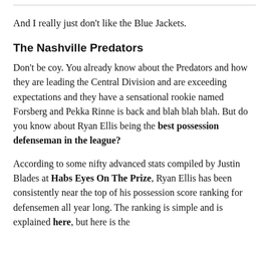And I really just don't like the Blue Jackets.
The Nashville Predators
Don't be coy. You already know about the Predators and how they are leading the Central Division and are exceeding expectations and they have a sensational rookie named Forsberg and Pekka Rinne is back and blah blah blah. But do you know about Ryan Ellis being the best possession defenseman in the league?
According to some nifty advanced stats compiled by Justin Blades at Habs Eyes On The Prize, Ryan Ellis has been consistently near the top of his possession score ranking for defensemen all year long. The ranking is simple and is explained here, but here is the